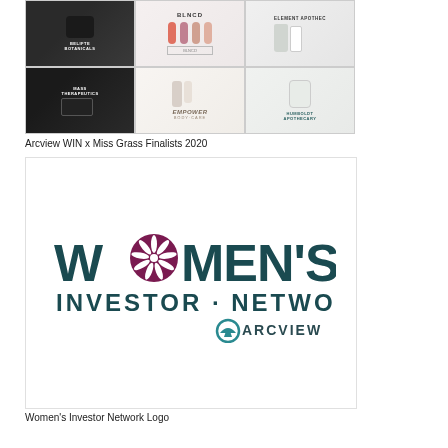[Figure (photo): Grid of 6 cannabis beauty/wellness product brand images arranged in 2 rows of 3: Row 1: Belifte Botanicals (dark jar), BLNCD (colorful tubes/packaging), Element Apothec (white tube). Row 2: Mass Therapeutics (black case with products), Empower Bodycare (bottles with empower branding), Humboldt Apothecary (white jar).]
Arcview WIN x Miss Grass Finalists 2020
[Figure (logo): Women's Investor Network logo — large bold teal/dark text reading W(cannabis leaf icon)MEN'S / INVESTOR · NETWORK with Arcview logo (teal helmet icon + ARCVIEW text) in lower right.]
Women's Investor Network Logo